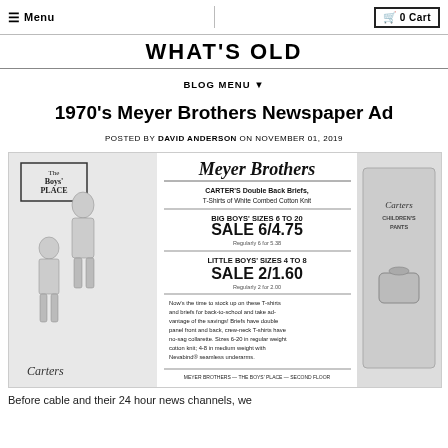☰ Menu   🛒 0 Cart
WHAT'S OLD
BLOG MENU ▼
1970's Meyer Brothers Newspaper Ad
POSTED BY DAVID ANDERSON ON NOVEMBER 01, 2019
[Figure (photo): Scanned 1970s Meyer Brothers department store newspaper advertisement for Carter's Double Back Briefs and T-Shirts. Features illustration of boys wearing the clothing on the left, Carter's product text and pricing in the center, and a photo of Carter's Children's Pants packaging on the right. Text includes: BIG BOYS' SIZES 6 TO 20, SALE 6/4.75, Regularly 6 for 5.38, LITTLE BOYS' SIZES 4 TO 8, SALE 2/1.60, Regularly 2 for 2.00. Body copy about back-to-school stocking up. Footer: MEYER BROTHERS — THE BOYS' PLACE — SECOND FLOOR.]
Before cable and their 24 hour news channels, we